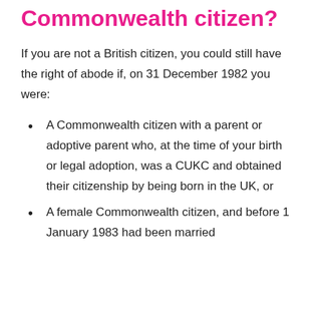Who is a qualifying Commonwealth citizen?
If you are not a British citizen, you could still have the right of abode if, on 31 December 1982 you were:
A Commonwealth citizen with a parent or adoptive parent who, at the time of your birth or legal adoption, was a CUKC and obtained their citizenship by being born in the UK, or
A female Commonwealth citizen, and before 1 January 1983 had been married